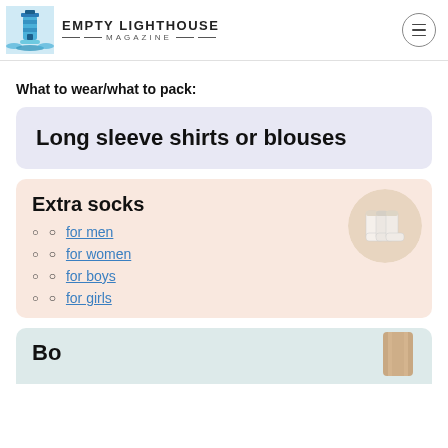EMPTY LIGHTHOUSE MAGAZINE
What to wear/what to pack:
Long sleeve shirts or blouses
Extra socks
for men
for women
for boys
for girls
[Figure (photo): A bundle of white ankle socks displayed in a circular crop]
Bo...